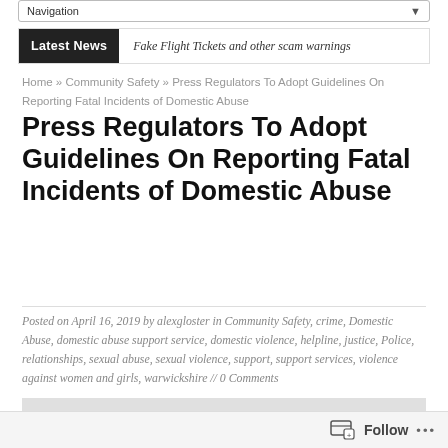Navigation
Latest News   Fake Flight Tickets and other scam warnings
Home » Community Safety » Press Regulators To Adopt Guidelines On Reporting Fatal Incidents of Domestic Abuse
Press Regulators To Adopt Guidelines On Reporting Fatal Incidents of Domestic Abuse
Posted on April 16, 2019 by alexgloster in Community Safety, crime, Domestic Abuse, domestic abuse support service, domestic violence, helpline, justice, Police, relationships, sexual abuse, sexual violence, support, support services, violence against women and girls, warwickshire // 0 Comments
[Figure (photo): Partially visible image at the bottom of the article page, appears to be a light-colored background image]